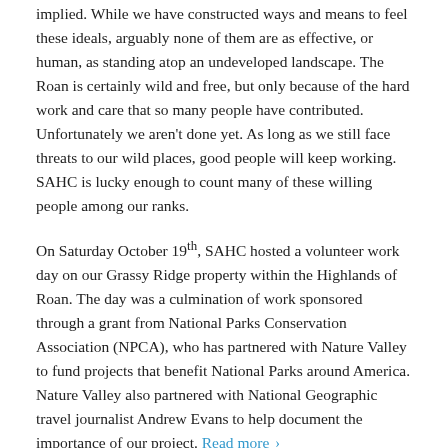implied. While we have constructed ways and means to feel these ideals, arguably none of them are as effective, or human, as standing atop an undeveloped landscape. The Roan is certainly wild and free, but only because of the hard work and care that so many people have contributed. Unfortunately we aren't done yet. As long as we still face threats to our wild places, good people will keep working. SAHC is lucky enough to count many of these willing people among our ranks.
On Saturday October 19th, SAHC hosted a volunteer work day on our Grassy Ridge property within the Highlands of Roan. The day was a culmination of work sponsored through a grant from National Parks Conservation Association (NPCA), who has partnered with Nature Valley to fund projects that benefit National Parks around America. Nature Valley also partnered with National Geographic travel journalist Andrew Evans to help document the importance of our project. Read more ›